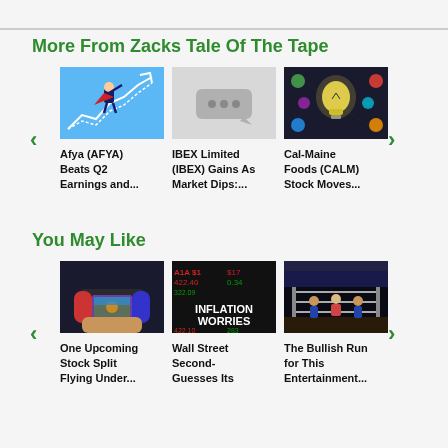More From Zacks Tale Of The Tape
[Figure (illustration): Cartoon businessman with cape flying upward over rising stock chart lines]
Afya (AFYA) Beats Q2 Earnings and...
[Figure (screenshot): Gray placeholder thumbnail with three dots speech bubble icon]
IBEX Limited (IBEX) Gains As Market Dips:...
[Figure (photo): Glowing yellow lightbulb on dark chalkboard background with colorful hands]
Cal-Maine Foods (CALM) Stock Moves...
You May Like
[Figure (photo): Person holding Nintendo Switch gaming console]
One Upcoming Stock Split Flying Under...
[Figure (photo): INFLATION WORRIES text on stock market ticker background]
Wall Street Second-Guesses Its
[Figure (photo): Wrestlers in a ring under stage lights]
The Bullish Run for This Entertainment...